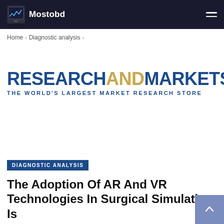Mostobd
Home > Diagnostic analysis >
[Figure (logo): ResearchAndMarkets logo — RESEARCH AND MARKETS, THE WORLD'S LARGEST MARKET RESEARCH STORE]
DIAGNOSTIC ANALYSIS
The Adoption Of AR And VR Technologies In Surgical Simulation Is